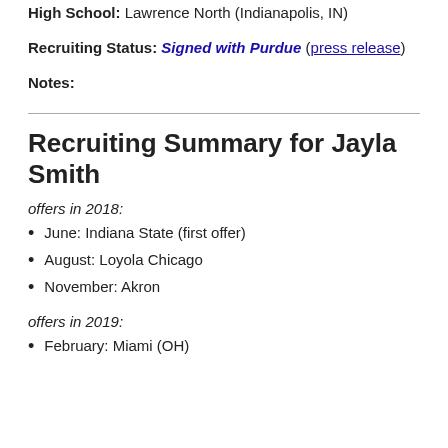High School: Lawrence North (Indianapolis, IN)
Recruiting Status: Signed with Purdue (press release)
Notes:
Recruiting Summary for Jayla Smith
offers in 2018:
June: Indiana State (first offer)
August: Loyola Chicago
November: Akron
offers in 2019:
February: Miami (OH)